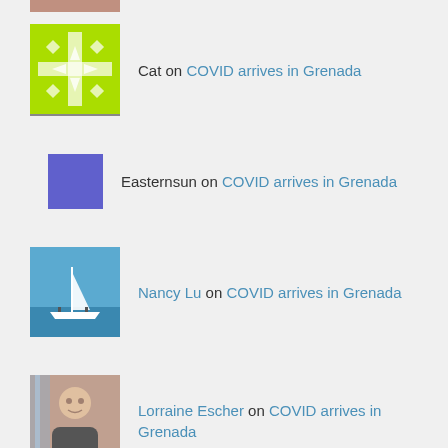Cat on COVID arrives in Grenada
Easternsun on COVID arrives in Grenada
Nancy Lu on COVID arrives in Grenada
Lorraine Escher on COVID arrives in Grenada
Archives
September 2021
July 2020